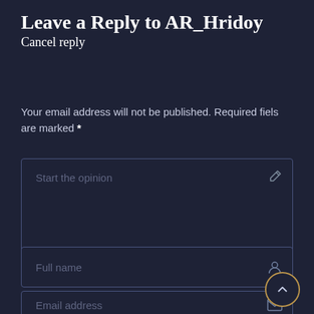Leave a Reply to AR_Hridoy Cancel reply
Your email address will not be published. Required fiels are marked *
[Figure (screenshot): Comment text area input box with placeholder text 'Start the opinion' and a pencil icon in the top right corner]
[Figure (screenshot): Full name input field with a person icon on the right]
[Figure (screenshot): Email address input field with an envelope icon on the right]
[Figure (other): Circular scroll-to-top button with upward chevron, bordered in gold/tan color]